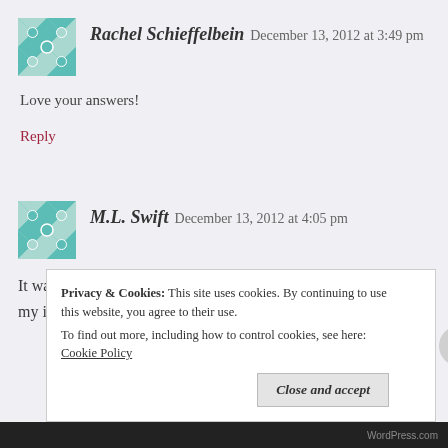Rachel Schieffelbein   December 13, 2012 at 3:49 pm
Love your answers!
Reply
M.L. Swift   December 13, 2012 at 4:05 pm
It was a blast searching for just the right photos that conveyed my images of Alex. Glad you liked my offering
Privacy & Cookies: This site uses cookies. By continuing to use this website, you agree to their use. To find out more, including how to control cookies, see here: Cookie Policy
Close and accept